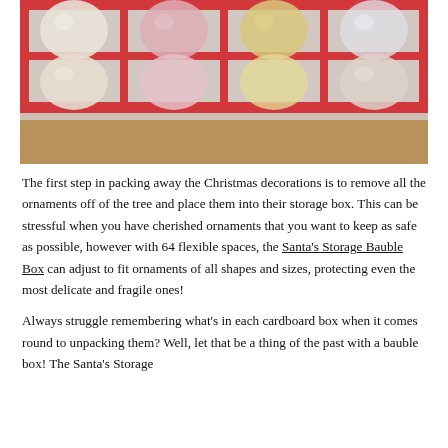[Figure (photo): A clear plastic bag with red trim/grid dividers holding multiple Christmas ornament balls in white, pink, yellow, and gold colors on a wooden surface.]
The first step in packing away the Christmas decorations is to remove all the ornaments off of the tree and place them into their storage box. This can be stressful when you have cherished ornaments that you want to keep as safe as possible, however with 64 flexible spaces, the Santa's Storage Bauble Box can adjust to fit ornaments of all shapes and sizes, protecting even the most delicate and fragile ones!
Always struggle remembering what's in each cardboard box when it comes round to unpacking them? Well, let that be a thing of the past with a bauble box! The Santa's Storage...